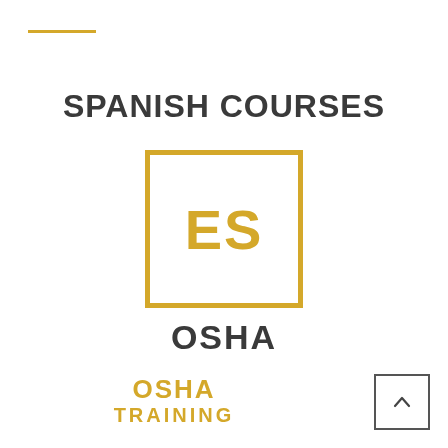[Figure (logo): Gold horizontal line decorative element in top-left corner]
SPANISH COURSES
[Figure (logo): Square box with gold border containing the letters ES in gold, representing Spanish language]
OSHA
[Figure (logo): OSHA TRAINING logo in gold/yellow text, two lines: OSHA on top, TRAINING below]
[Figure (other): Back to top button - square with upward caret arrow in bottom-right corner]